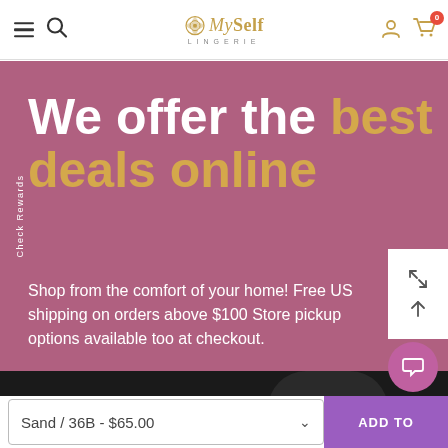MySelf LINGERIE — navigation bar with hamburger menu, search, logo, account icon, cart (0)
[Figure (screenshot): Hero banner with mauve/rose background. Large bold headline: 'We offer the best deals online' with 'best deals online' in gold/tan. Subtext: 'Shop from the comfort of your home! Free US shipping on orders above $100 Store pickup options available too at checkout.' Vertical side tab reads 'Check Rewards'. White floating action box with expand and scroll-up icons. Bottom dark band.]
We offer the best deals online
Shop from the comfort of your home! Free US shipping on orders above $100 Store pickup options available too at checkout.
Sand / 36B - $65.00
ADD TO
Check Rewards